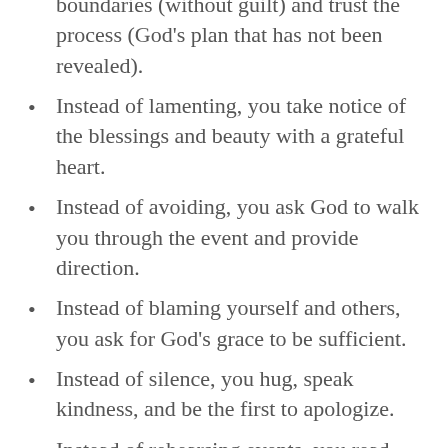boundaries (without guilt) and trust the process (God’s plan that has not been revealed).
Instead of lamenting, you take notice of the blessings and beauty with a grateful heart.
Instead of avoiding, you ask God to walk you through the event and provide direction.
Instead of blaming yourself and others, you ask for God’s grace to be sufficient.
Instead of silence, you hug, speak kindness, and be the first to apologize.
Instead of rehearsing events, you read God’s Word and acknowledge the frailty in those you’ve trusted most–they are human with their God journey.
Instead of comparing, you look straight in the eyes of Your Savior and say, “God, you are enough. Thank you.”